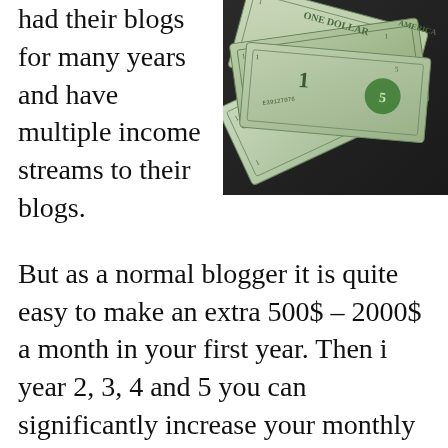had their blogs for many years and have multiple income streams to their blogs.
[Figure (photo): A pile of US dollar bills spread out, showing $1 and $5 notes.]
But as a normal blogger it is quite easy to make an extra 500$ – 2000$ a month in your first year. Then i year 2, 3, 4 and 5 you can significantly increase your monthly income from your blog. Alright. Now we start talking about the good stuff. In the following paragraph's I will explain how to make money